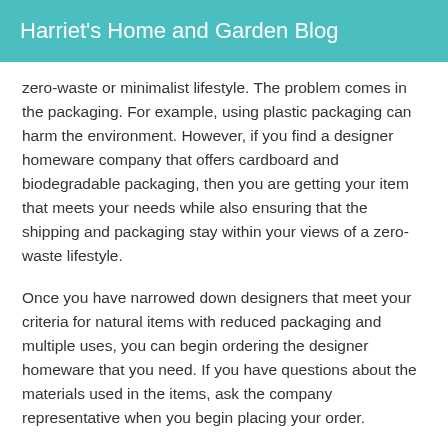Harriet's Home and Garden Blog
zero-waste or minimalist lifestyle. The problem comes in the packaging. For example, using plastic packaging can harm the environment. However, if you find a designer homeware company that offers cardboard and biodegradable packaging, then you are getting your item that meets your needs while also ensuring that the shipping and packaging stay within your views of a zero-waste lifestyle.
Once you have narrowed down designers that meet your criteria for natural items with reduced packaging and multiple uses, you can begin ordering the designer homeware that you need. If you have questions about the materials used in the items, ask the company representative when you begin placing your order.